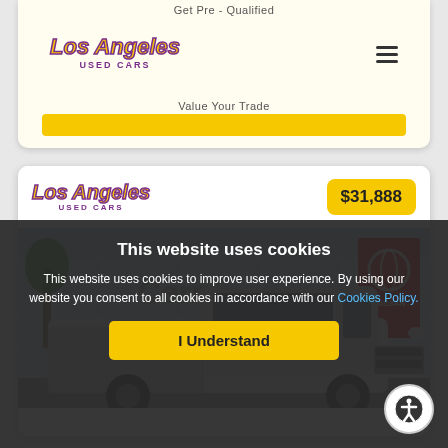[Figure (screenshot): Los Angeles Used Cars website navigation bar with logo, hamburger menu, Get Pre-Qualified and Value Your Trade links, and a yellow button bar]
[Figure (screenshot): Los Angeles Used Cars vehicle listing card showing a silver Nissan pickup truck in front of Cerritos Nissan dealership with price badge $31,888]
This website uses cookies
This website uses cookies to improve user experience. By using our website you consent to all cookies in accordance with our Cookies Policy.
I Understand
YOUR LO[S ANGELES USE]D CAR M[EGA STO]